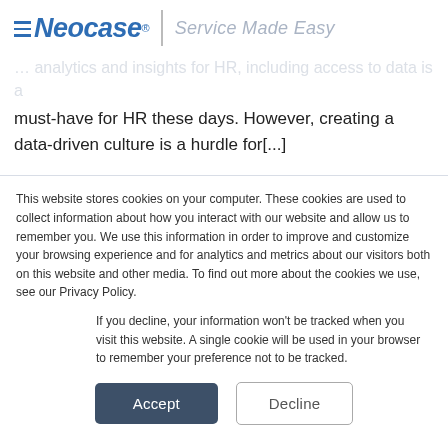Neocase® | Service Made Easy
must-have for HR these days. However, creating a data-driven culture is a hurdle for[...]
This website stores cookies on your computer. These cookies are used to collect information about how you interact with our website and allow us to remember you. We use this information in order to improve and customize your browsing experience and for analytics and metrics about our visitors both on this website and other media. To find out more about the cookies we use, see our Privacy Policy.
If you decline, your information won't be tracked when you visit this website. A single cookie will be used in your browser to remember your preference not to be tracked.